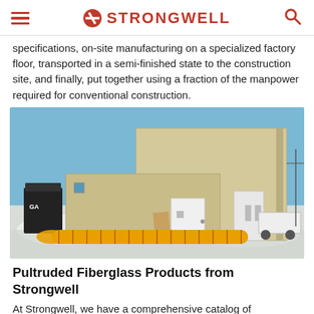STRONGWELL
specifications, on-site manufacturing on a specialized factory floor, transported in a semi-finished state to the construction site, and finally, put together using a fraction of the manpower required for conventional construction.
[Figure (photo): Two-story modular fiberglass building structure assembled outdoors in a snowy environment with yellow corrugated hose on the ground.]
Pultruded Fiberglass Products from Strongwell
At Strongwell, we have a comprehensive catalog of